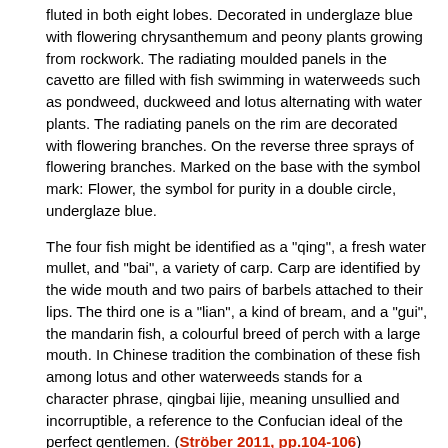fluted in both eight lobes. Decorated in underglaze blue with flowering chrysanthemum and peony plants growing from rockwork. The radiating moulded panels in the cavetto are filled with fish swimming in waterweeds such as pondweed, duckweed and lotus alternating with water plants. The radiating panels on the rim are decorated with flowering branches. On the reverse three sprays of flowering branches. Marked on the base with the symbol mark: Flower, the symbol for purity in a double circle, underglaze blue.
The four fish might be identified as a "qing", a fresh water mullet, and "bai", a variety of carp. Carp are identified by the wide mouth and two pairs of barbels attached to their lips. The third one is a "lian", a kind of bream, and a "gui", the mandarin fish, a colourful breed of perch with a large mouth. In Chinese tradition the combination of these fish among lotus and other waterweeds stands for a character phrase, qingbai lijie, meaning unsullied and incorruptible, a reference to the Confucian ideal of the perfect gentlemen. (Ströber 2011, pp.104-106)
Condition: A fleabite, two frits and two shallow glaze chips to the rim.
References:
Davison 1994, cat. 1806
Ströber 2011, cat. 37